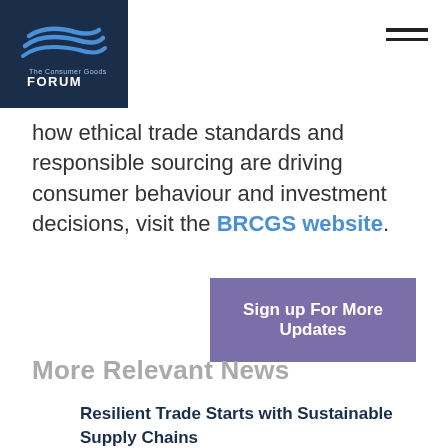The Consumer Goods FORUM
how ethical trade standards and responsible sourcing are driving consumer behaviour and investment decisions, visit the BRCGS website.
Sign up For More Updates
More Relevant News
Resilient Trade Starts with Sustainable Supply Chains